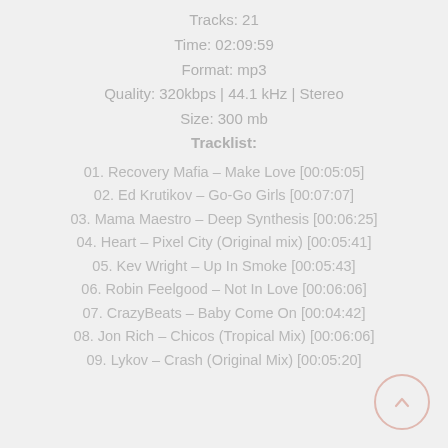Tracks: 21
Time: 02:09:59
Format: mp3
Quality: 320kbps | 44.1 kHz | Stereo
Size: 300 mb
Tracklist:
01. Recovery Mafia – Make Love [00:05:05]
02. Ed Krutikov – Go-Go Girls [00:07:07]
03. Mama Maestro – Deep Synthesis [00:06:25]
04. Heart – Pixel City (Original mix) [00:05:41]
05. Kev Wright – Up In Smoke [00:05:43]
06. Robin Feelgood – Not In Love [00:06:06]
07. CrazyBeats – Baby Come On [00:04:42]
08. Jon Rich – Chicos (Tropical Mix) [00:06:06]
09. Lykov – Crash (Original Mix) [00:05:20]